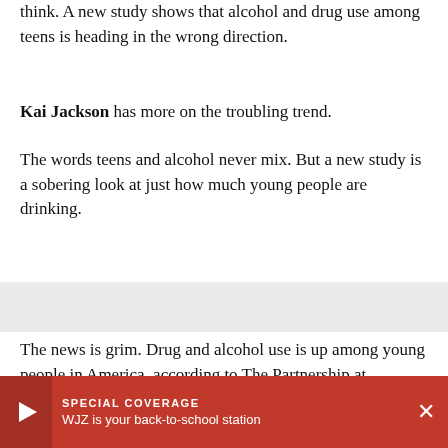think. A new study shows that alcohol and drug use among teens is heading in the wrong direction.
Kai Jackson has more on the troubling trend.
The words teens and alcohol never mix. But a new study is a sobering look at just how much young people are drinking.
The news is grim. Drug and alcohol use is up among young people in America, according to The Partnership at Drugfree.org.
"I guess it's a problem. I guess a lot of people do it mostly freshmen," s... student.
[Figure (other): Red banner overlay at bottom: Special Coverage — WJZ is your back-to-school station, with play button and close X button]